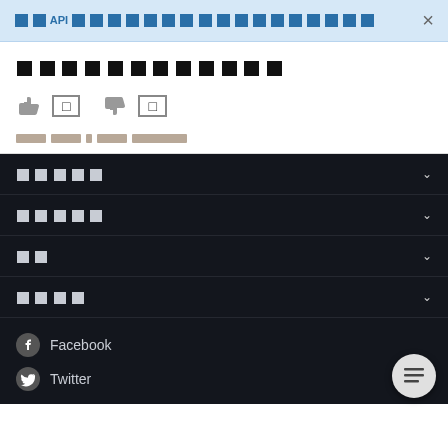APIの使い方・料金プランについて教えてください ×
記事のタイトルテキスト
👍 0   👎 0
役に立った 役に立った 0 件の 高評価コメント
カテゴリー
カテゴリー
設定
ログイン
Facebook
Twitter